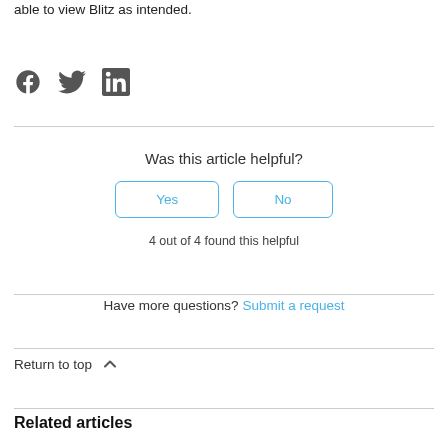able to view Blitz as intended.
[Figure (illustration): Social media share icons: Facebook, Twitter, LinkedIn in dark gray]
Was this article helpful?
Yes | No (buttons)
4 out of 4 found this helpful
Have more questions? Submit a request
Return to top ∧
Related articles